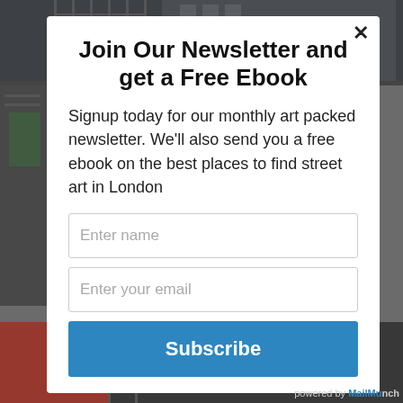[Figure (screenshot): Background photo showing urban buildings/street art scene in dark tones]
Join Our Newsletter and get a Free Ebook
Signup today for our monthly art packed newsletter. We'll also send you a free ebook on the best places to find street art in London
Enter name
Enter your email
Subscribe
powered by MailMunch